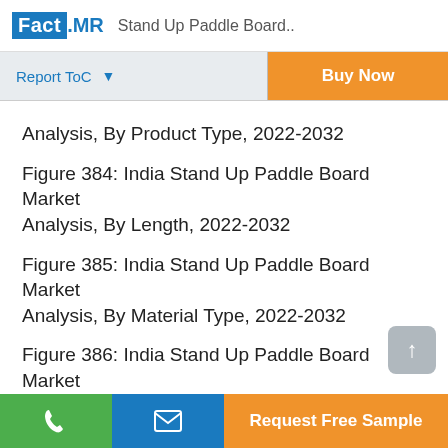Fact.MR  Stand Up Paddle Board..
Analysis, By Product Type, 2022-2032
Figure 384: India Stand Up Paddle Board Market Analysis, By Length, 2022-2032
Figure 385: India Stand Up Paddle Board Market Analysis, By Material Type, 2022-2032
Figure 386: India Stand Up Paddle Board Market Analysis, By Board Type, 2022-2032
Figure 387: India Stand Up Paddle Board Market
Request Free Sample